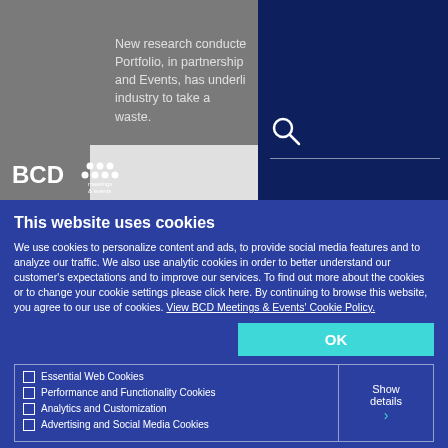[Figure (screenshot): BCD Meetings & Events website header with logo, partial article text visible, dark navy right panel with search icon, cookie consent banner overlay]
New research conducted Portfolio, in partnership and Events, has underli industry to take a waste.
This website uses cookies
We use cookies to personalize content and ads, to provide social media features and to analyze our traffic. We also use analytic cookies in order to better understand our customer's expectations and to improve our services. To find out more about the cookies or to change your cookie settings please click here. By continuing to browse this website, you agree to our use of cookies. View BCD Meetings & Events' Cookie Policy.
Essential Web Cookies
Performance and Functionality Cookies
Analytics and Customization
Advertising and Social Media Cookies